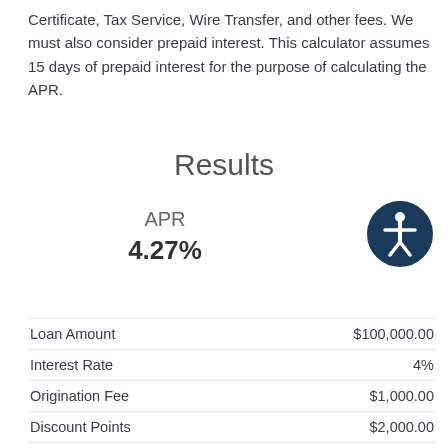Certificate, Tax Service, Wire Transfer, and other fees. We must also consider prepaid interest. This calculator assumes 15 days of prepaid interest for the purpose of calculating the APR.
Results
APR
4.27%
|  |  |
| --- | --- |
| Loan Amount | $100,000.00 |
| Interest Rate | 4% |
| Origination Fee | $1,000.00 |
| Discount Points | $2,000.00 |
| Prepaid Interest | $166.67 |